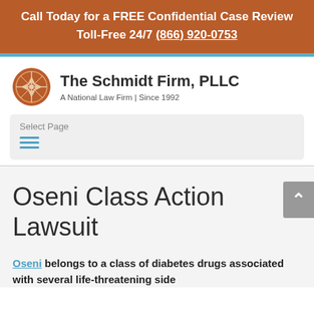Call Today for a FREE Confidential Case Review
Toll-Free 24/7 (866) 920-0753
[Figure (logo): The Schmidt Firm PLLC logo — orange circular emblem with decorative cross pattern, followed by firm name and tagline 'A National Law Firm | Since 1992']
Select Page
Oseni Class Action Lawsuit
Oseni belongs to a class of diabetes drugs associated with several life-threatening side